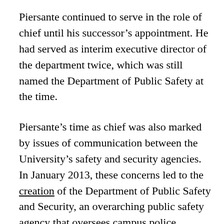Piersante continued to serve in the role of chief until his successor's appointment. He had served as interim executive director of the department twice, which was still named the Department of Public Safety at the time.
Piersante's time as chief was also marked by issues of communication between the University's safety and security agencies. In January 2013, these concerns led to the creation of the Department of Public Safety and Security, an overarching public safety agency that oversees campus police, housing security and hospital security, among other safety-related University units.